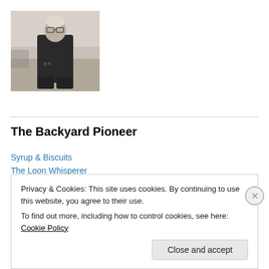[Figure (photo): Black and white photograph of a person wearing dark clothing and glasses, seated outdoors near water]
The Backyard Pioneer
Syrup & Biscuits
The Loon Whisperer
Privacy & Cookies: This site uses cookies. By continuing to use this website, you agree to their use.
To find out more, including how to control cookies, see here: Cookie Policy
Close and accept